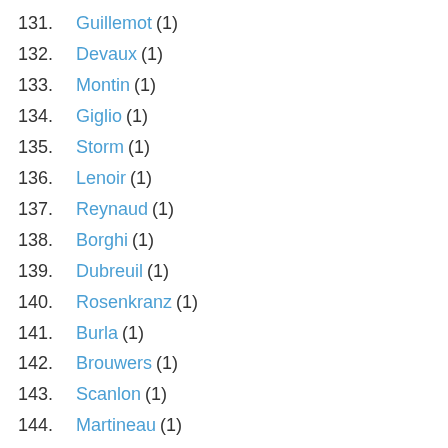131. Guillemot (1)
132. Devaux (1)
133. Montin (1)
134. Giglio (1)
135. Storm (1)
136. Lenoir (1)
137. Reynaud (1)
138. Borghi (1)
139. Dubreuil (1)
140. Rosenkranz (1)
141. Burla (1)
142. Brouwers (1)
143. Scanlon (1)
144. Martineau (1)
145. Lemonnier (1)
146. Guyot (1)